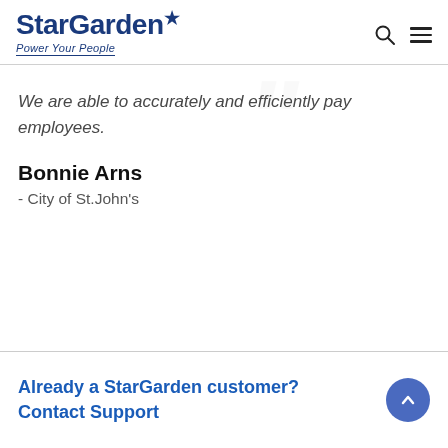StarGarden Power Your People
We are able to accurately and efficiently pay employees.
Bonnie Arns
- City of St.John's
Already a StarGarden customer? Contact Support